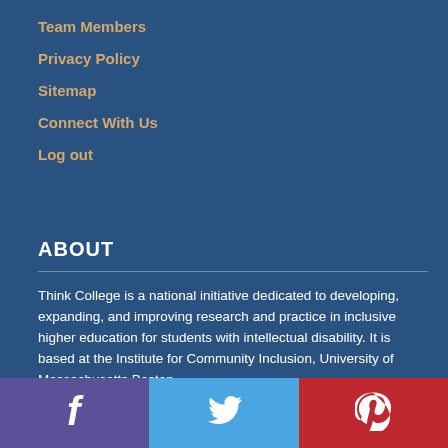Team Members
Privacy Policy
Sitemap
Connect With Us
Log out
ABOUT
Think College is a national initiative dedicated to developing, expanding, and improving research and practice in inclusive higher education for students with intellectual disability. It is based at the Institute for Community Inclusion, University of Massachusetts Boston.
[Figure (infographic): Social media icons bar at the bottom: Facebook (purple background), Twitter (light blue background), Pinterest (red background)]